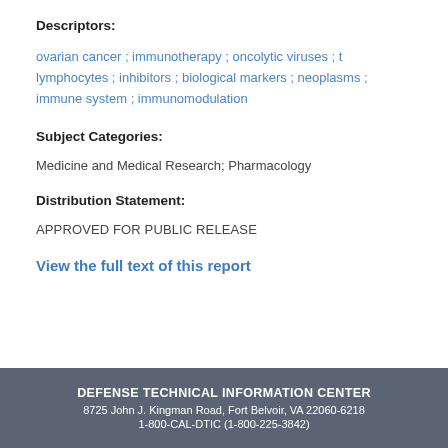Descriptors:
ovarian cancer ; immunotherapy ; oncolytic viruses ; t lymphocytes ; inhibitors ; biological markers ; neoplasms ; immune system ; immunomodulation
Subject Categories:
Medicine and Medical Research; Pharmacology
Distribution Statement:
APPROVED FOR PUBLIC RELEASE
View the full text of this report
DEFENSE TECHNICAL INFORMATION CENTER
8725 John J. Kingman Road, Fort Belvoir, VA 22060-6218
1-800-CAL-DTIC (1-800-225-3842)